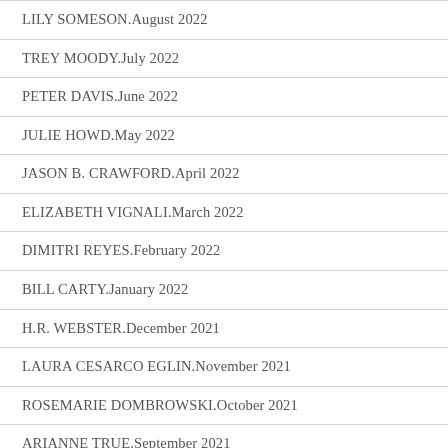LILY SOMESON.August 2022
TREY MOODY.July 2022
PETER DAVIS.June 2022
JULIE HOWD.May 2022
JASON B. CRAWFORD.April 2022
ELIZABETH VIGNALI.March 2022
DIMITRI REYES.February 2022
BILL CARTY.January 2022
H.R. WEBSTER.December 2021
LAURA CESARCO EGLIN.November 2021
ROSEMARIE DOMBROWSKI.October 2021
ARIANNE TRUE.September 2021